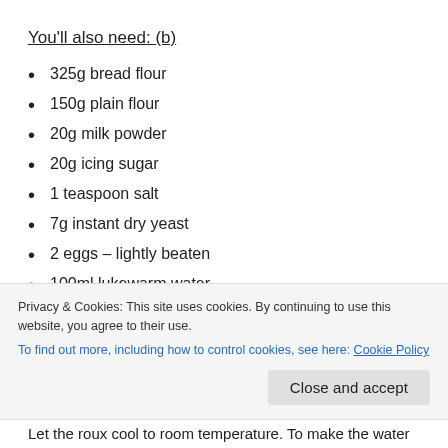You'll also need: (b)
325g bread flour
150g plain flour
20g milk powder
20g icing sugar
1 teaspoon salt
7g instant dry yeast
2 eggs – lightly beaten
100ml lukewarm water
75g butter – soft and just slightly melted
Privacy & Cookies: This site uses cookies. By continuing to use this website, you agree to their use.
To find out more, including how to control cookies, see here: Cookie Policy
Close and accept
Let the roux cool to room temperature. To make the water